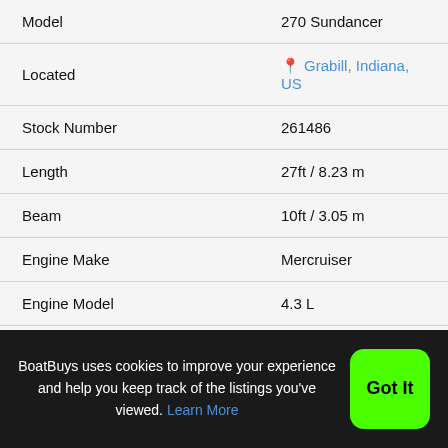| Field | Value |
| --- | --- |
| Model | 270 Sundancer |
| Located | 📍 Grabill, Indiana, US |
| Stock Number | 261486 |
| Length | 27ft / 8.23 m |
| Beam | 10ft / 3.05 m |
| Engine Make | Mercruiser |
| Engine Model | 4.3 L |
| Engine Type | Inboard/outboard |
| Engine HP | 410 |
| Fuel | Unleaded |
BoatBuys uses cookies to improve your experience and help you keep track of the listings you've viewed. Learn More